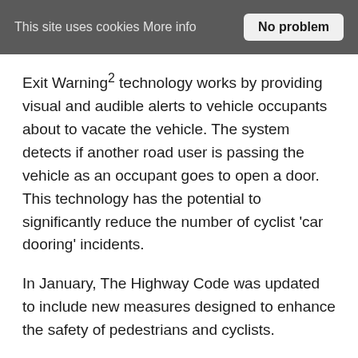This site uses cookies More info  No problem
Exit Warning² technology works by providing visual and audible alerts to vehicle occupants about to vacate the vehicle. The system detects if another road user is passing the vehicle as an occupant goes to open a door. This technology has the potential to significantly reduce the number of cyclist 'car dooring' incidents.
In January, The Highway Code was updated to include new measures designed to enhance the safety of pedestrians and cyclists.
One of the most notable changes requires drivers to give way to pe [Scroll to Top] to cross at a junction and at